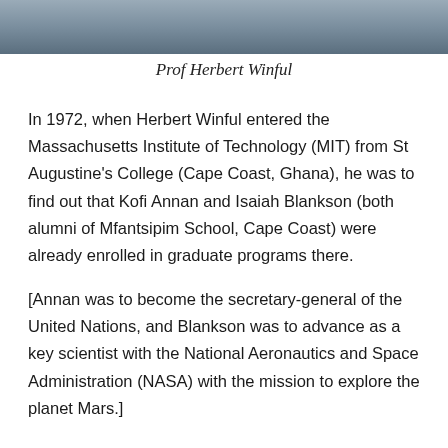[Figure (photo): Partial photograph of Prof Herbert Winful, cropped at top of page showing lower portion of face/shoulders]
Prof Herbert Winful
In 1972, when Herbert Winful entered the Massachusetts Institute of Technology (MIT) from St Augustine's College (Cape Coast, Ghana), he was to find out that Kofi Annan and Isaiah Blankson (both alumni of Mfantsipim School, Cape Coast) were already enrolled in graduate programs there.
[Annan was to become the secretary-general of the United Nations, and Blankson was to advance as a key scientist with the National Aeronautics and Space Administration (NASA) with the mission to explore the planet Mars.]